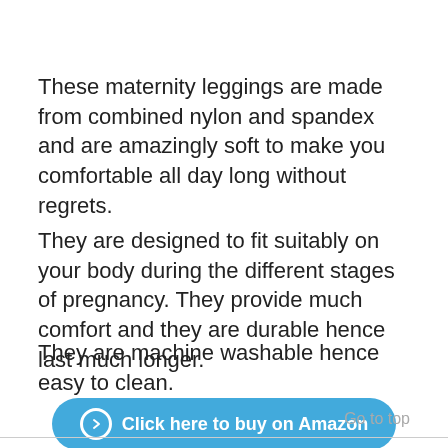These maternity leggings are made from combined nylon and spandex and are amazingly soft to make you comfortable all day long without regrets.
They are designed to fit suitably on your body during the different stages of pregnancy. They provide much comfort and they are durable hence last much longer.
They are machine washable hence easy to clean.
[Figure (other): Blue rounded button labeled 'Click here to buy on Amazon' with a circled arrow icon on the left.]
Go to top